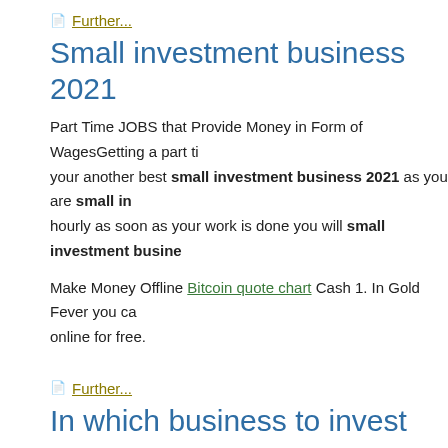Further...
Small investment business 2021
Part Time JOBS that Provide Money in Form of WagesGetting a part ti your another best small investment business 2021 as you are small in hourly as soon as your work is done you will small investment busine
Make Money Offline Bitcoin quote chart Cash 1. In Gold Fever you ca online for free.
Further...
In which business to invest money a
But Swagbucks offers a ton of ways to make money. It is almost overw because all of the options. A lot of the options aren't worth the trouble, doing their tasks.
However, Swagbucks is one of my favorite sites in which business to i